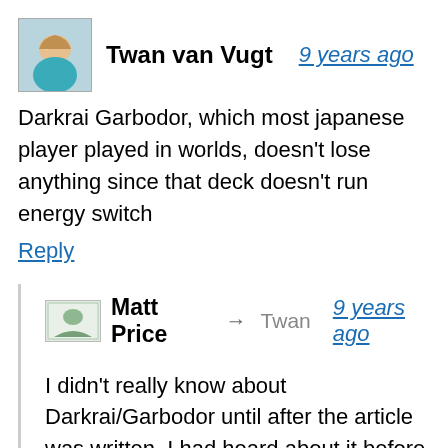Twan van Vugt  9 years ago
Darkrai Garbodor, which most japanese player played in worlds, doesn't lose anything since that deck doesn't run energy switch
Reply
Matt Price → Twan  9 years ago
I didn't really know about Darkrai/Garbodor until after the article was written. I had heard about it before but didn't know anything about it. Also, I don't go